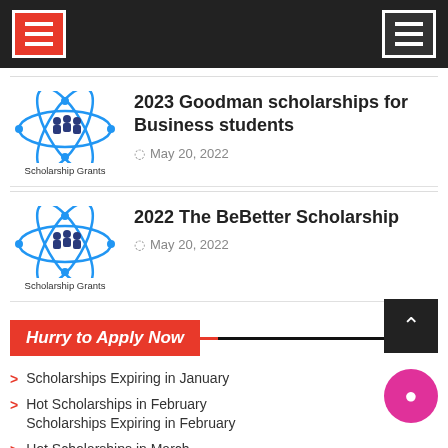Navigation bar with hamburger menus
[Figure (logo): Scholarship Grants logo with blue orbit/figure design]
2023 Goodman scholarships for Business students
May 20, 2022
[Figure (logo): Scholarship Grants logo with blue orbit/figure design]
2022 The BeBetter Scholarship
May 20, 2022
Hurry to Apply Now
Scholarships Expiring in January
Hot Scholarships in February
Scholarships Expiring in February
Hot Scholarships in March